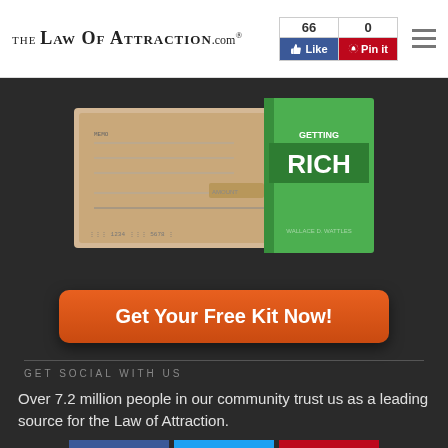The Law Of Attraction .com — Like 66 | Pin it 0
[Figure (photo): Partial image of a book 'The Science of Getting Rich' by Wallace D. Wattles alongside a cheque, on dark background]
Get Your Free Kit Now!
GET SOCIAL WITH US
Over 7.2 million people in our community trust us as a leading source for the Law of Attraction.
[Figure (infographic): Social media icons grid: Facebook (blue), Twitter (light blue), Pinterest (red), Instagram (purple/pink), YouTube (red), Tumblr (dark blue)]